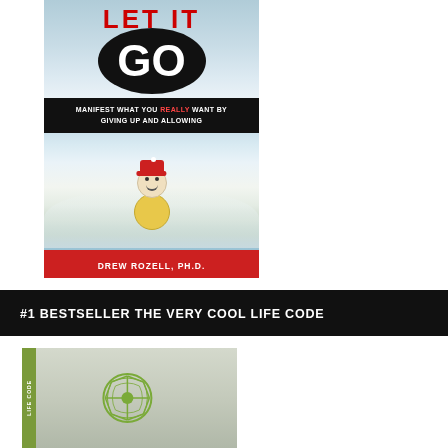[Figure (photo): Book cover of 'Let It Go' by Drew Rozell, Ph.D. — showing title text 'LET IT GO' with 'GO' inside a black circle, subtitle 'MANIFEST WHAT YOU REALLY WANT BY GIVING UP AND ALLOWING' on black banner, a small toy snowman figure in snow on a beach/winter scene background, and author name 'DREW ROZELL, PH.D.' on red bar at bottom.]
#1 BESTSELLER THE VERY COOL LIFE CODE
[Figure (photo): Partial view of another book cover with a green spine and a green circular logo/wheel design on a light gray background — partially cropped at bottom of page.]